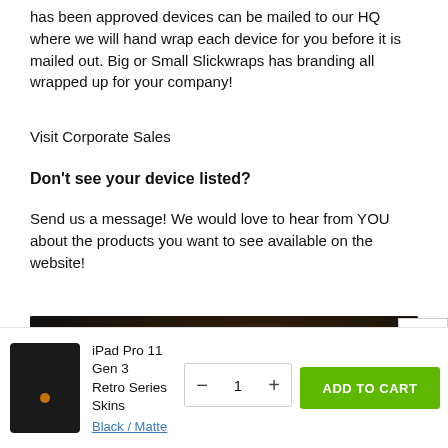has been approved devices can be mailed to our HQ where we will hand wrap each device for you before it is mailed out. Big or Small Slickwraps has branding all wrapped up for your company!
Visit Corporate Sales
Don't see your device listed?
Send us a message! We would love to hear from YOU about the products you want to see available on the website!
[Figure (screenshot): Slickwraps banner with SW logo and text: Be Unique. Be Different. Be You!]
[Figure (screenshot): Shopping cart bar showing iPad Pro 11 Gen 3 Retro Series Skins in Black/Matte, quantity selector showing 1, and Add to Cart button]